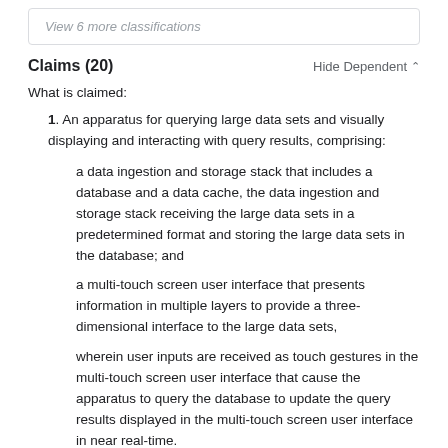View 6 more classifications
Claims (20)
Hide Dependent ^
What is claimed:
1. An apparatus for querying large data sets and visually displaying and interacting with query results, comprising:
a data ingestion and storage stack that includes a database and a data cache, the data ingestion and storage stack receiving the large data sets in a predetermined format and storing the large data sets in the database; and
a multi-touch screen user interface that presents information in multiple layers to provide a three-dimensional interface to the large data sets,
wherein user inputs are received as touch gestures in the multi-touch screen user interface that cause the apparatus to query the database to update the query results displayed in the multi-touch screen user interface in near real-time.